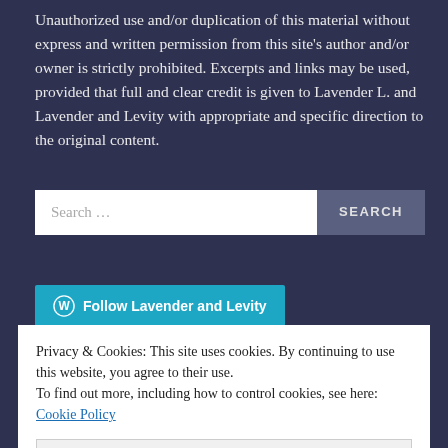Unauthorized use and/or duplication of this material without express and written permission from this site's author and/or owner is strictly prohibited. Excerpts and links may be used, provided that full and clear credit is given to Lavender L. and Lavender and Levity with appropriate and specific direction to the original content.
Search …
Follow Lavender and Levity
Privacy & Cookies: This site uses cookies. By continuing to use this website, you agree to their use.
To find out more, including how to control cookies, see here: Cookie Policy
Close and accept